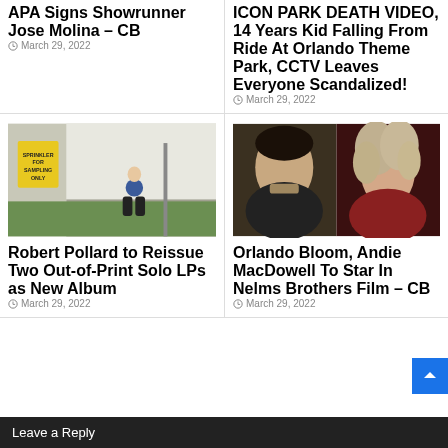APA Signs Showrunner Jose Molina – CB
March 29, 2022
ICON PARK DEATH VIDEO, 14 Years Kid Falling From Ride At Orlando Theme Park, CCTV Leaves Everyone Scandalized!
March 29, 2022
[Figure (photo): Person sitting against a white wall outdoors near a yellow sign reading 'SPRINKLER FOR SAMPLING ONLY']
Robert Pollard to Reissue Two Out-of-Print Solo LPs as New Album
March 29, 2022
[Figure (photo): Two headshots side by side: Orlando Bloom on the left and Andie MacDowell on the right]
Orlando Bloom, Andie MacDowell To Star In Nelms Brothers Film – CB
March 29, 2022
Leave a Reply